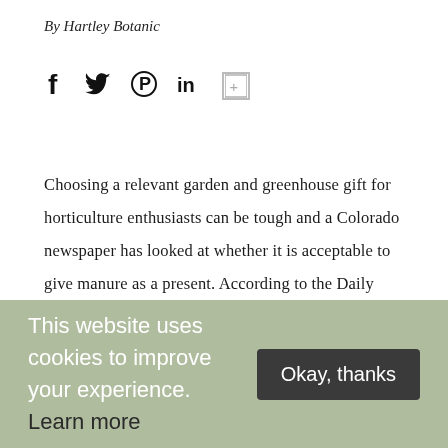By Hartley Botanic
[Figure (other): Social media share icons: Facebook (f), Twitter (bird), Pinterest (P), LinkedIn (in), and a plus/share icon]
Choosing a relevant garden and greenhouse gift for horticulture enthusiasts can be tough and a Colorado newspaper has looked at whether it is acceptable to give manure as a present. According to the Daily Camera, most growers are likely to be slightly embarrassed about asking for such a gift, noting that there is a
This website uses cookies to improve your experience. Learn more
Okay, thanks